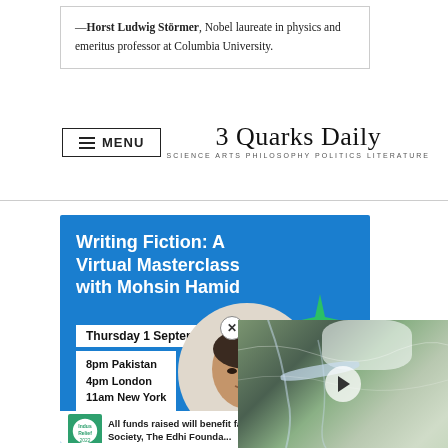—Horst Ludwig Störmer, Nobel laureate in physics and emeritus professor at Columbia University.
[Figure (logo): 3 Quarks Daily logo with subtitle SCIENCE ARTS PHILOSOPHY POLITICS LITERATURE]
[Figure (infographic): Advertisement banner: Writing Fiction: A Virtual Masterclass with Mohsin Hamid. Thursday 1 September 2022. 8pm Pakistan, 4pm London, 11am New York. Photo of Mohsin Hamid with sparkle graphics. Indus Relief 2022 branding. All funds raised will benefit families in Upper Sindh through Society, The Edhi Foundation.]
[Figure (photo): Aerial video thumbnail with play button overlay and close button]